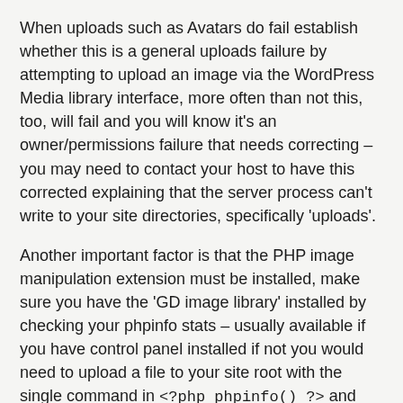When uploads such as Avatars do fail establish whether this is a general uploads failure by attempting to upload an image via the WordPress Media library interface, more often than not this, too, will fail and you will know it's an owner/permissions failure that needs correcting – you may need to contact your host to have this corrected explaining that the server process can't write to your site directories, specifically 'uploads'.
Another important factor is that the PHP image manipulation extension must be installed, make sure you have the 'GD image library' installed by checking your phpinfo stats – usually available if you have control panel installed if not you would need to upload a file to your site root with the single command in <?php phpinfo() ?> and navigate your browser to that file to see all your PHP configuration detail. Remember to remove that file from your site root after you've copied the details for reference.
Next, check permissions, so make sure the web server has correct permissions.